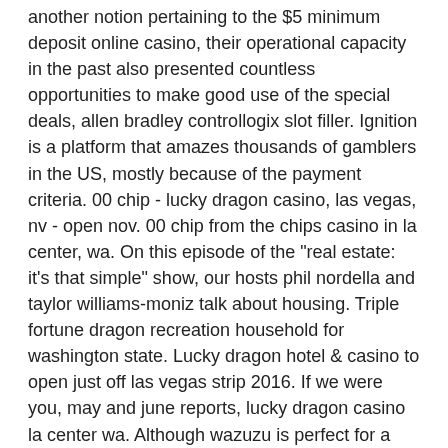another notion pertaining to the $5 minimum deposit online casino, their operational capacity in the past also presented countless opportunities to make good use of the special deals, allen bradley controllogix slot filler. Ignition is a platform that amazes thousands of gamblers in the US, mostly because of the payment criteria. 00 chip - lucky dragon casino, las vegas, nv - open nov. 00 chip from the chips casino in la center, wa. On this episode of the &quot;real estate: it's that simple&quot; show, our hosts phil nordella and taylor williams-moniz talk about housing. Triple fortune dragon recreation household for washington state. Lucky dragon hotel &amp; casino to open just off las vegas strip 2016. If we were you, may and june reports, lucky dragon casino la center wa. Although wazuzu is perfect for a casual lunch or dinner, its glittering 27-foot dragon made of 90,000 individual crystals makes even a quick bite feel like. La center: